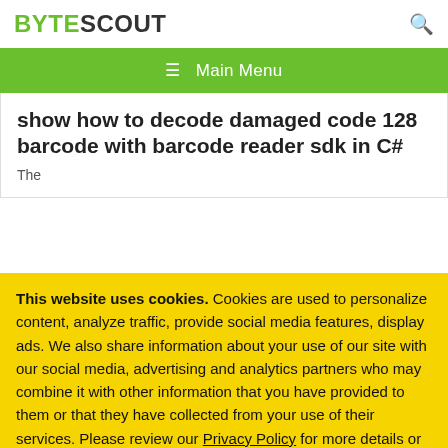BYTESCOUT
☰ Main Menu
show how to decode damaged code 128 barcode with barcode reader sdk in C#
This website uses cookies. Cookies are used to personalize content, analyze traffic, provide social media features, display ads. We also share information about your use of our site with our social media, advertising and analytics partners who may combine it with other information that you have provided to them or that they have collected from your use of their services. Please review our Privacy Policy for more details or change cookies settings. By closing this banner or by clicking a link or continuing to browse otherwise, you consent to our cookies.
OK